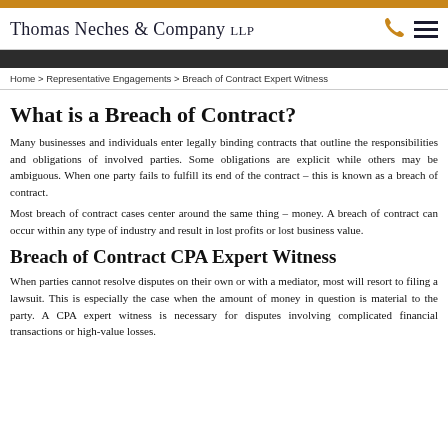Thomas Neches & Company LLP
Home > Representative Engagements > Breach of Contract Expert Witness
What is a Breach of Contract?
Many businesses and individuals enter legally binding contracts that outline the responsibilities and obligations of involved parties. Some obligations are explicit while others may be ambiguous. When one party fails to fulfill its end of the contract – this is known as a breach of contract.
Most breach of contract cases center around the same thing – money. A breach of contract can occur within any type of industry and result in lost profits or lost business value.
Breach of Contract CPA Expert Witness
When parties cannot resolve disputes on their own or with a mediator, most will resort to filing a lawsuit. This is especially the case when the amount of money in question is material to the party. A CPA expert witness is necessary for disputes involving complicated financial transactions or high-value losses.